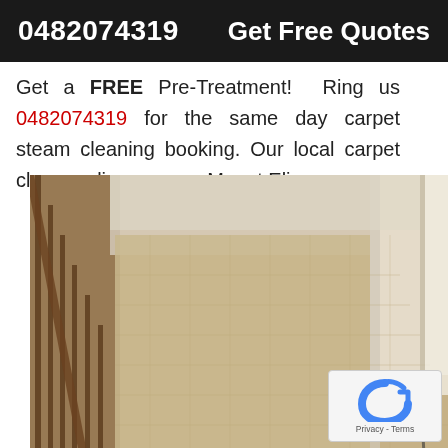0482074319   Get Free Quotes
Get a FREE Pre-Treatment!  Ring us 0482074319 for the same day carpet steam cleaning booking. Our local carpet cleaners lives across Mount Eliza.
[Figure (photo): Carpet steam cleaning in progress — view from above showing clean beige carpet in a hallway/staircase area with a steam cleaning wand and orange hose visible]
[Figure (photo): Bottom portion showing another carpet or floor area being cleaned, partial view]